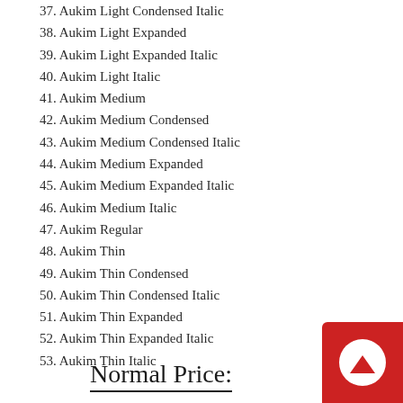37. Aukim Light Condensed Italic
38. Aukim Light Expanded
39. Aukim Light Expanded Italic
40. Aukim Light Italic
41. Aukim Medium
42. Aukim Medium Condensed
43. Aukim Medium Condensed Italic
44. Aukim Medium Expanded
45. Aukim Medium Expanded Italic
46. Aukim Medium Italic
47. Aukim Regular
48. Aukim Thin
49. Aukim Thin Condensed
50. Aukim Thin Condensed Italic
51. Aukim Thin Expanded
52. Aukim Thin Expanded Italic
53. Aukim Thin Italic
Normal Price: